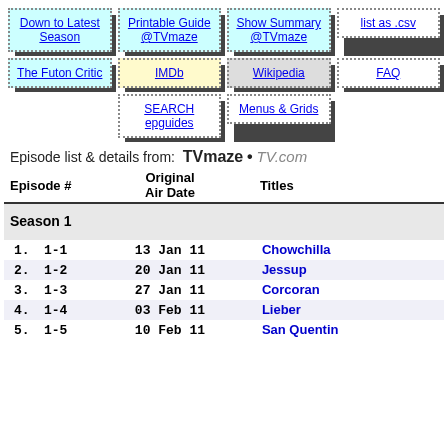[Figure (infographic): Navigation button grid with links: Down to Latest Season, Printable Guide @TVmaze, Show Summary @TVmaze, list as .csv, The Futon Critic, IMDb, Wikipedia, FAQ, SEARCH epguides, Menus & Grids]
Episode list & details from: TVmaze • TV.com
| Episode # | Original Air Date | Titles |
| --- | --- | --- |
| Season 1 |  |  |
| 1. 1-1 | 13 Jan 11 | Chowchilla |
| 2. 1-2 | 20 Jan 11 | Jessup |
| 3. 1-3 | 27 Jan 11 | Corcoran |
| 4. 1-4 | 03 Feb 11 | Lieber |
| 5. 1-5 | 10 Feb 11 | San Quentin |